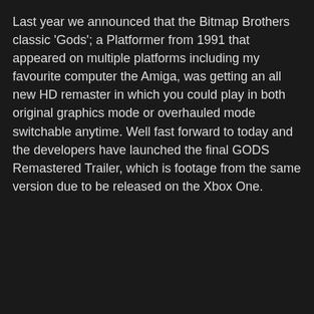Last year we announced that the Bitmap Brothers classic 'Gods'; a Platformer from 1991 that appeared on multiple platforms including my favourite computer the Amiga, was getting an all new HD remaster in which you could play in both original graphics mode or overhauled mode switchable anytime. Well fast forward to today and the developers have launched the final GODS Remastered Trailer, which is footage from the same version due to be released on the Xbox One.